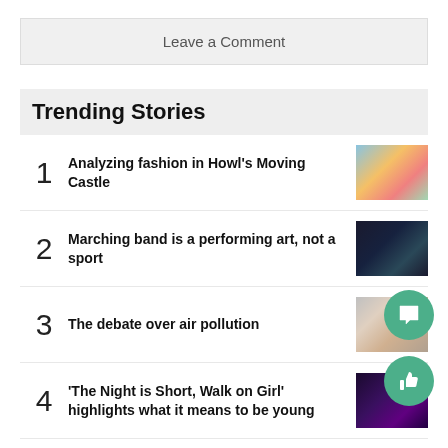Leave a Comment
Trending Stories
1 Analyzing fashion in Howl's Moving Castle
2 Marching band is a performing art, not a sport
3 The debate over air pollution
4 'The Night is Short, Walk on Girl' highlights what it means to be young